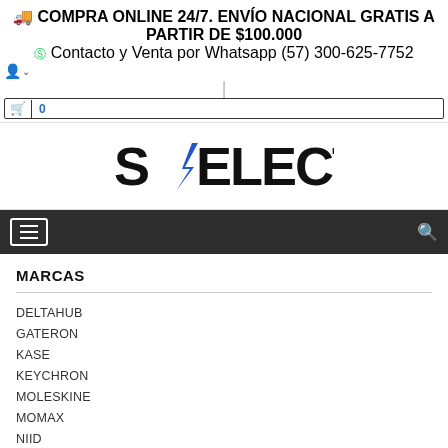🚚 COMPRA ONLINE 24/7. ENVÍO NACIONAL GRATIS A PARTIR DE $100.000
Contacto y Venta por Whatsapp (57) 300-625-7752
[Figure (logo): SELECT brand logo with blue lightning bolt replacing the letter I]
MARCAS
DELTAHUB
GATERON
KASE
KEYCHRON
MOLESKINE
MOMAX
NIID
PÓLIT